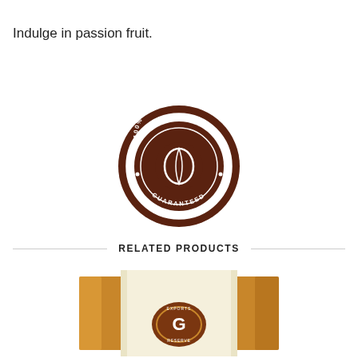Indulge in passion fruit.
[Figure (logo): Round brown satisfaction guaranteed seal/badge with coffee bean motif in the center and text '100% SATISFACTION GUARANTEED' around the border with decorative serrated edge]
RELATED PRODUCTS
[Figure (photo): A product box with gold/tan sides and a cream/white center panel featuring a brown oval logo with letter G and text 'EXPORTS RESERVE' around it]